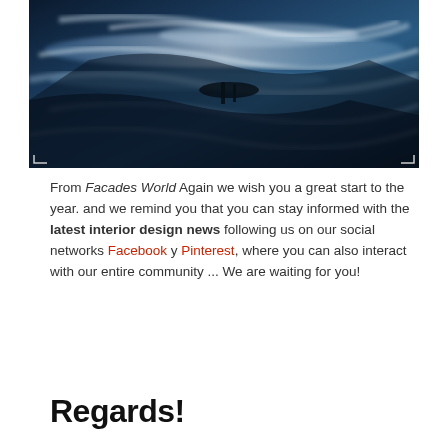[Figure (photo): Abstract photo of rippling blue and dark water reflections with swirling patterns]
From Facades World Again we wish you a great start to the year. and we remind you that you can stay informed with the latest interior design news following us on our social networks Facebook y Pinterest, where you can also interact with our entire community ... We are waiting for you!
Regards!